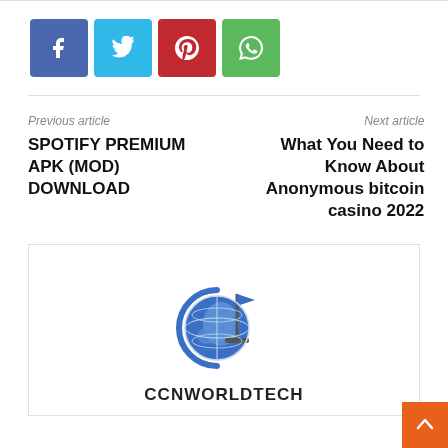[Figure (infographic): Four social media share buttons: Facebook (blue), Twitter (cyan), Pinterest (red), WhatsApp (green) with respective icons]
Previous article
SPOTIFY PREMIUM APK (MOD) DOWNLOAD
Next article
What You Need to Know About Anonymous bitcoin casino 2022
[Figure (logo): CCNWORLDTECH logo: a globe with a flag and a stand, surrounded by a partial blue ring, with the text CCNWORLDTECH below]